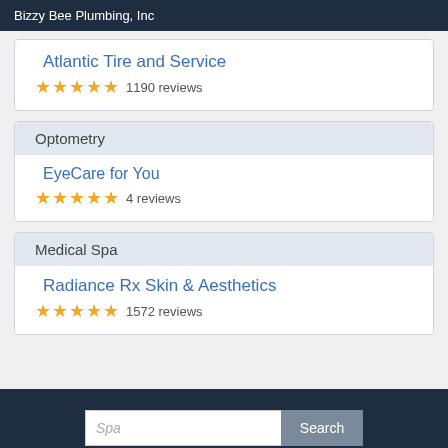Bizzy Bee Plumbing, Inc
Atlantic Tire and Service
★★★★★ 1190 reviews
Optometry
EyeCare for You
★★★★★ 4 reviews
Medical Spa
Radiance Rx Skin & Aesthetics
★★★★★ 1572 reviews